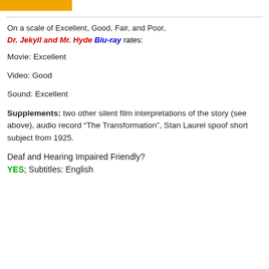[Figure (other): Partial yellow/orange banner image at top left]
On a scale of Excellent, Good, Fair, and Poor,
Dr. Jekyll and Mr. Hyde Blu-ray rates:
Movie: Excellent
Video: Good
Sound: Excellent
Supplements: two other silent film interpretations of the story (see above), audio record “The Transformation”, Stan Laurel spoof short subject from 1925.
Deaf and Hearing Impaired Friendly?
YES; Subtitles: English